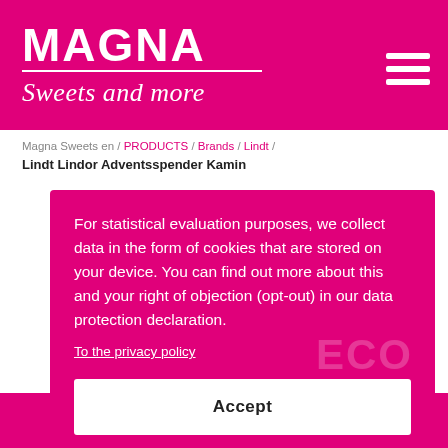MAGNA Sweets and more
Magna Sweets en / PRODUCTS / Brands / Lindt / Lindt Lindor Adventsspender Kamin
For statistical evaluation purposes, we collect data in the form of cookies that are stored on your device. You can find out more about this and your right of objection (opt-out) in our data protection declaration.
To the privacy policy
Accept